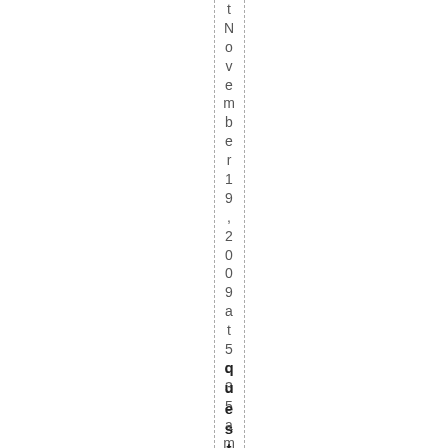t November 19, 2009 at 5:35am
quest